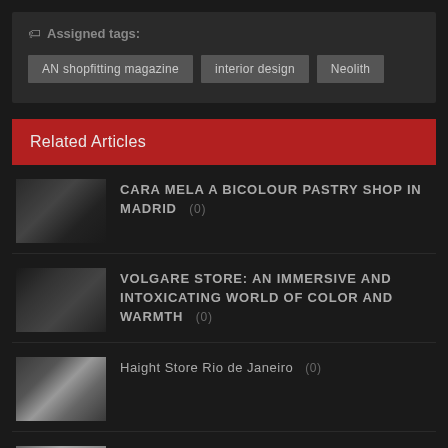Assigned tags:
AN shopfitting magazine
interior design
Neolith
Related Articles
CARA MELA A BICOLOUR PASTRY SHOP IN MADRID (0)
VOLGARE STORE: AN IMMERSIVE AND INTOXICATING WORLD OF COLOR AND WARMTH (0)
Haight Store Rio de Janeiro (0)
ÀPETIT RESTAURANT, A CELEBRATION OF FLAVOR (0)